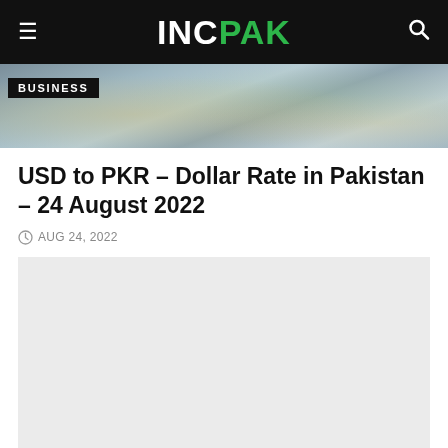INCPAK
[Figure (photo): Hero image of US dollar banknotes spread out, with a BUSINESS category badge overlay in the top-left corner]
USD to PKR – Dollar Rate in Pakistan – 24 August 2022
AUG 24, 2022
[Figure (other): Light gray placeholder content area]